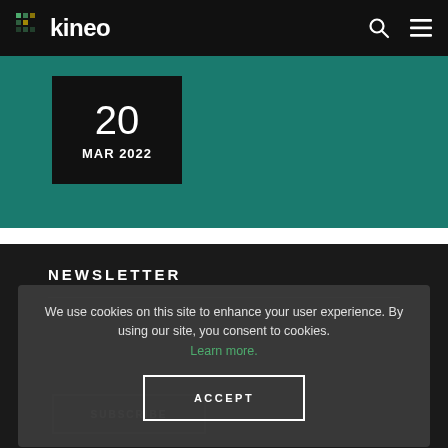kineo
[Figure (screenshot): Teal green banner background with a black date box showing '20 MAR 2022']
NEWSLETTER
We use cookies on this site to enhance your user experience. By using our site, you consent to cookies. Learn more.
ACCEPT
SUBSCRIBE